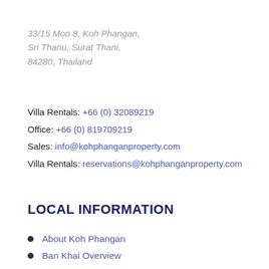33/15 Moo 8, Koh Phangan,
Sri Thanu, Surat Thani,
84280, Thailand
Villa Rentals: +66 (0) 32089219
Office: +66 (0) 819709219
Sales: info@kohphanganproperty.com
Villa Rentals: reservations@kohphanganproperty.com
LOCAL INFORMATION
About Koh Phangan
Ban Khai Overview
Ban Nai Wok Overview
Ban Wok Tum Overview
Chaloklum Overview
Haad Khom Overview